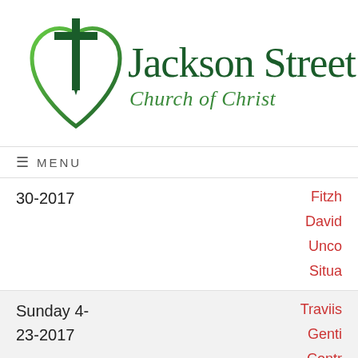[Figure (logo): Jackson Street Church of Christ logo: green heart outline with a cross inside, next to the text 'Jackson Street Church of Christ']
≡ MENU
30-2017
Fitzh...
David...
Unco...
Situa...
Sunday 4-
23-2017
Traviis...
Genti...
Contr...